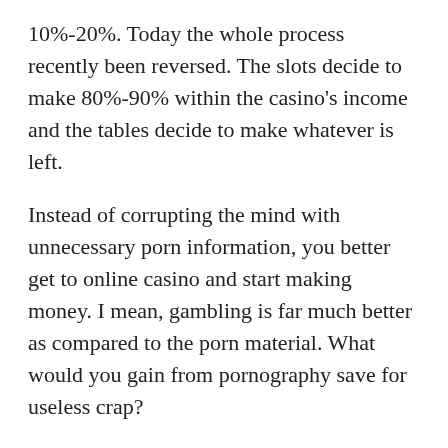10%-20%. Today the whole process recently been reversed. The slots decide to make 80%-90% within the casino's income and the tables decide to make whatever is left.
Instead of corrupting the mind with unnecessary porn information, you better get to online casino and start making money. I mean, gambling is far much better as compared to the porn material. What would you gain from pornography save for useless crap?
If you are an expert in casino gambling, you would surely list down your total bets before cashing with your bonus take in the amount you are not, might surely imagine that you formerly played enough to draw your